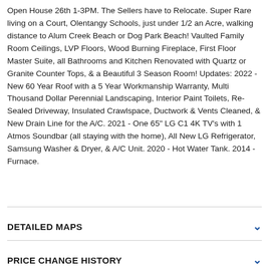Open House 26th 1-3PM. The Sellers have to Relocate. Super Rare living on a Court, Olentangy Schools, just under 1/2 an Acre, walking distance to Alum Creek Beach or Dog Park Beach! Vaulted Family Room Ceilings, LVP Floors, Wood Burning Fireplace, First Floor Master Suite, all Bathrooms and Kitchen Renovated with Quartz or Granite Counter Tops, & a Beautiful 3 Season Room! Updates: 2022 - New 60 Year Roof with a 5 Year Workmanship Warranty, Multi Thousand Dollar Perennial Landscaping, Interior Paint Toilets, Re-Sealed Driveway, Insulated Crawlspace, Ductwork & Vents Cleaned, & New Drain Line for the A/C. 2021 - One 65" LG C1 4K TV's with 1 Atmos Soundbar (all staying with the home), All New LG Refrigerator, Samsung Washer & Dryer, & A/C Unit. 2020 - Hot Water Tank. 2014 - Furnace.
DETAILED MAPS
PRICE CHANGE HISTORY